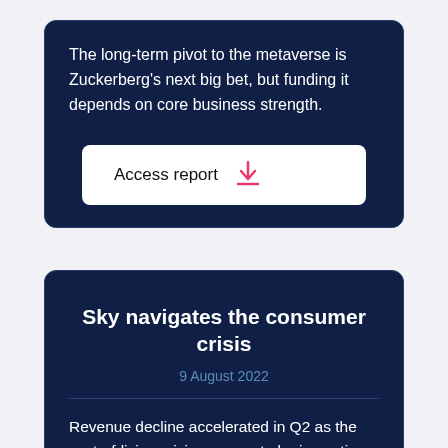The long-term pivot to the metaverse is Zuckerberg's next big bet, but funding it depends on core business strength.
[Figure (other): White button labeled 'Access report' with a pink download arrow icon]
Sky navigates the consumer crisis
9 August 2022
Revenue decline accelerated in Q2 as the cost-of-living crisis appears to be impacting UK sales, but